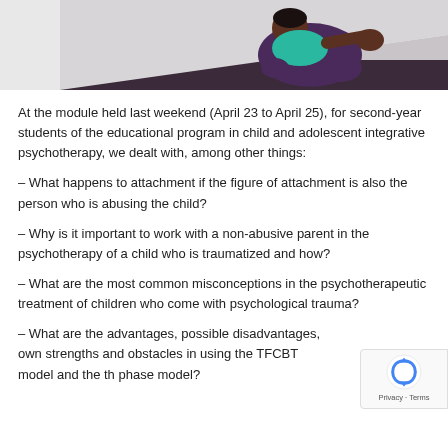[Figure (illustration): Illustration of a child sitting curled up with knees to chest, wearing teal top and purple pants, against a light gray background with dark shadow beneath.]
At the module held last weekend (April 23 to April 25), for second-year students of the educational program in child and adolescent integrative psychotherapy, we dealt with, among other things:
– What happens to attachment if the figure of attachment is also the person who is abusing the child?
– Why is it important to work with a non-abusive parent in the psychotherapy of a child who is traumatized and how?
– What are the most common misconceptions in the psychotherapeutic treatment of children who come with psychological trauma?
– What are the advantages, possible disadvantages, own strengths and obstacles in using the TFCBT model and the three phase model?